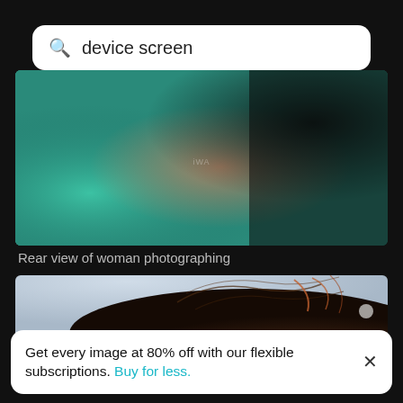[Figure (screenshot): Search bar UI with magnifying glass icon and text 'device screen' on white rounded rectangle background]
[Figure (photo): Rear view of a woman in a green top photographing with a smartphone, crowd in background, dark/blurred]
Rear view of woman photographing
[Figure (photo): Close-up rear view of woman's hair blowing in wind against a light grey sky, auburn/brown tones]
Get every image at 80% off with our flexible subscriptions. Buy for less.